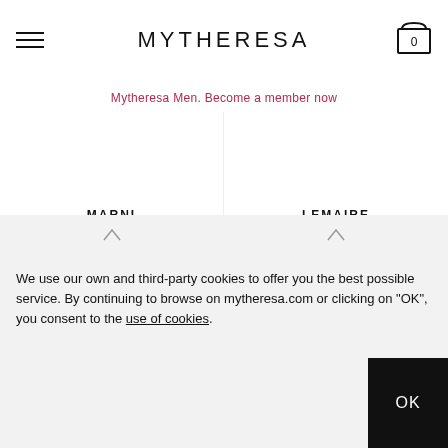MYTHERESA
Mytheresa Men. Become a member now
MARNI
€ 595
LEMAIRE
€ 610
We use our own and third-party cookies to offer you the best possible service. By continuing to browse on mytheresa.com or clicking on "OK", you consent to the use of cookies.